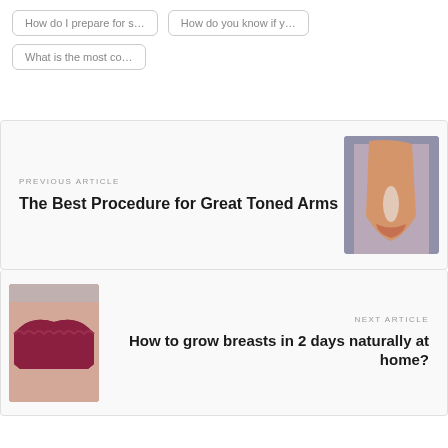How do I prepare for s...
How do you know if y...
What is the most co...
PREVIOUS ARTICLE
The Best Procedure for Great Toned Arms
[Figure (photo): Close-up photo of a person pinching arm skin/fat against a grey background]
NEXT ARTICLE
How to grow breasts in 2 days naturally at home?
[Figure (photo): Close-up photo of a woman in a dark red/burgundy bra]